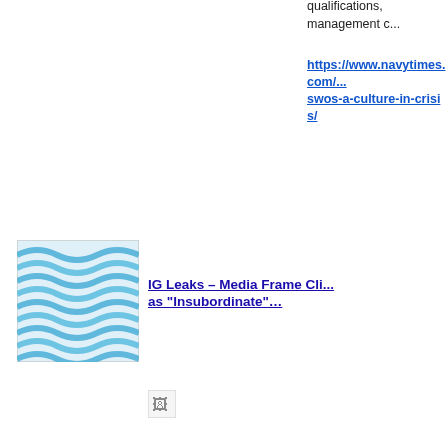qualifications, management c...
https://www.navytimes.com/... swos-a-culture-in-crisis/
[Figure (illustration): Blue wave pattern thumbnail image]
IG Leaks – Media Frame Cli... as "Insubordinate"…
[Figure (illustration): Small broken image icon]
(Click to enlarge.)
[Figure (photo): Photo of a person in military/ceremonial uniform]
new thread
[Figure (illustration): Blue wave pattern thumbnail image]
NEW THREAD
[Figure (illustration): Pink/red floral or geometric pattern thumbnail]
Joan:
Thank you for your thoughtfu...